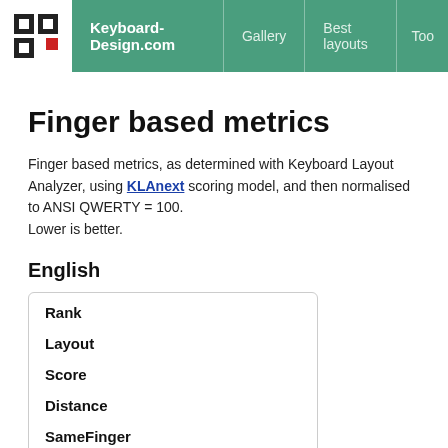Keyboard-Design.com | Gallery | Best layouts | Too
Finger based metrics
Finger based metrics, as determined with Keyboard Layout Analyzer, using KLAnext scoring model, and then normalised to ANSI QWERTY = 100.
Lower is better.
English
| Rank | Layout | Score | Distance | SameFinger | SameHand |
| --- | --- | --- | --- | --- | --- |